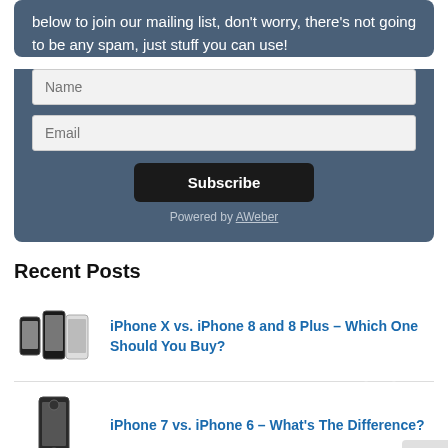below to join our mailing list, don't worry, there's not going to be any spam, just stuff you can use!
[Figure (screenshot): Email signup form with Name and Email fields and Subscribe button, powered by AWeber]
Recent Posts
[Figure (photo): iPhone X vs. iPhone 8 and 8 Plus phones image]
iPhone X vs. iPhone 8 and 8 Plus – Which One Should You Buy?
[Figure (photo): iPhone 7 phone image]
iPhone 7 vs. iPhone 6 – What's The Difference?